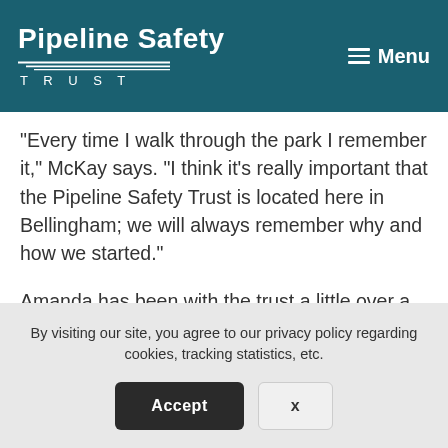Pipeline Safety Trust | Menu
“Every time I walk through the park I remember it,” McKay says. “I think it’s really important that the Pipeline Safety Trust is located here in Bellingham; we will always remember why and how we started.”
Amanda has been with the trust a little over a month, but already sees the integral role her job will play. As program manager she will work with a variety of different stakeholders, including a diverse of
By visiting our site, you agree to our privacy policy regarding cookies, tracking statistics, etc.